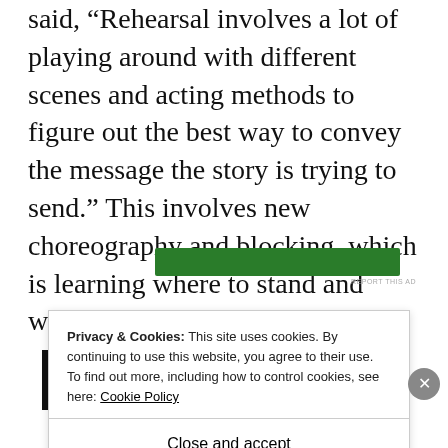said, “Rehearsal involves a lot of playing around with different scenes and acting methods to figure out the best way to convey the message the story is trying to send.” This involves new choreography and blocking, which is learning where to stand and what scene to perform.
[Figure (other): Green advertisement banner bar]
REPORT THIS AD
Privacy & Cookies: This site uses cookies. By continuing to use this website, you agree to their use.
To find out more, including how to control cookies, see here: Cookie Policy
Close and accept